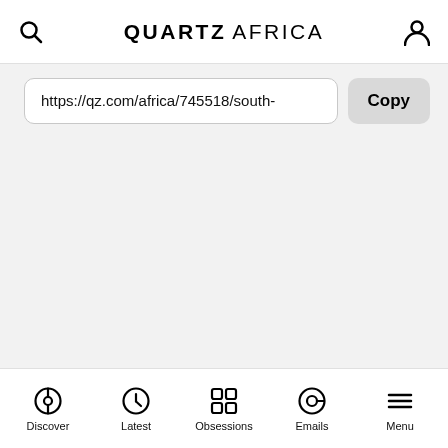QUARTZ AFRICA
https://qz.com/africa/745518/south-
Copy
Discover | Latest | Obsessions | Emails | Menu